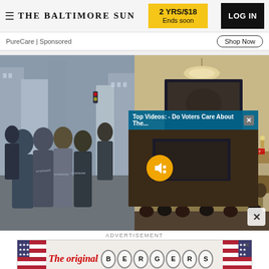THE BALTIMORE SUN | 2 YRS/$18 Ends soon | LOG IN
PureCare | Sponsored
Shop Now
[Figure (photo): Group of people in SmartAsset t-shirts standing on a cobblestone street in an urban setting, with a video popup overlay showing 'Top Videos: - Do Voters Care About The...' and a congressional hearing room image beneath]
ADVERTISEMENT
[Figure (photo): Advertisement banner: 'The original BERGERS' with American flag imagery on both sides and a close X button]